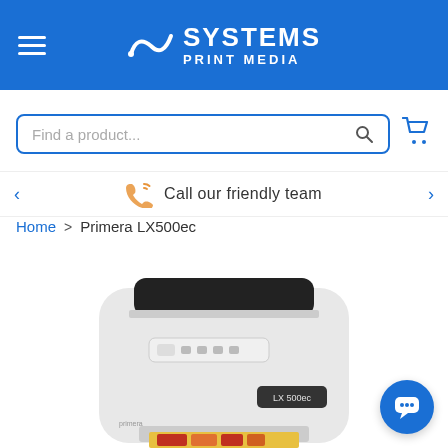Systems Print Media
Find a product...
Call our friendly team
Home > Primera LX500ec
[Figure (photo): Photo of the Primera LX500ec label printer, white casing with black top panel, small control buttons on front, LX500ec label on front-right, a colorful label being printed at the bottom.]
[Figure (other): Blue chat/messaging widget button in bottom-right corner]